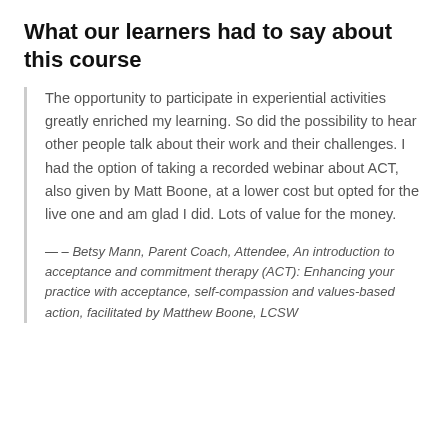What our learners had to say about this course
The opportunity to participate in experiential activities greatly enriched my learning. So did the possibility to hear other people talk about their work and their challenges. I had the option of taking a recorded webinar about ACT, also given by Matt Boone, at a lower cost but opted for the live one and am glad I did. Lots of value for the money.
— – Betsy Mann, Parent Coach, Attendee, An introduction to acceptance and commitment therapy (ACT): Enhancing your practice with acceptance, self-compassion and values-based action, facilitated by Matthew Boone, LCSW